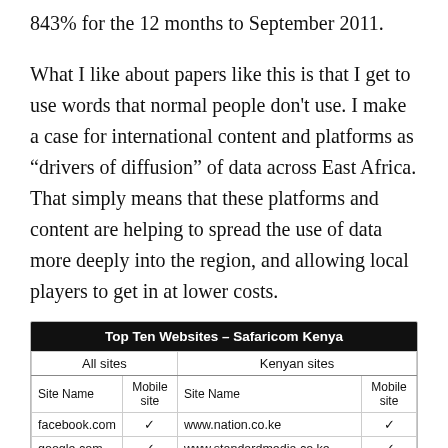843% for the 12 months to September 2011.
What I like about papers like this is that I get to use words that normal people don't use. I make a case for international content and platforms as “drivers of diffusion” of data across East Africa. That simply means that these platforms and content are helping to spread the use of data more deeply into the region, and allowing local players to get in at lower costs.
| Site Name | Mobile site | Site Name | Mobile site |
| --- | --- | --- | --- |
| facebook.com | ✓ | www.nation.co.ke | ✓ |
| google.com | ✓ | www.standardmedia.co.ke | ✓ |
| wapdam.com | ✓ | www.kenyanlyrics.com | × |
| yahoo.com | ✓ | www.kenyanjobs.blogspot.com | × |
| wikipedia.org | ✓ | www.home.co.ke | ... |